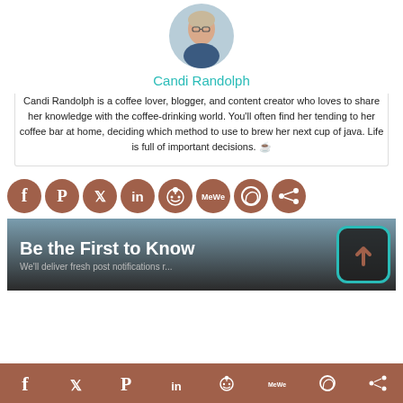[Figure (photo): Circular profile photo of Candi Randolph, a woman with glasses and dark top]
Candi Randolph
Candi Randolph is a coffee lover, blogger, and content creator who loves to share her knowledge with the coffee-drinking world. You'll often find her tending to her coffee bar at home, deciding which method to use to brew her next cup of java. Life is full of important decisions. ☕
[Figure (infographic): Row of social sharing icons: Facebook, Pinterest, Twitter, LinkedIn, Reddit, MeWe, WhatsApp, Share — brown circles]
[Figure (infographic): Dark banner with text 'Be the First to Know' and subtitle 'We'll deliver fresh post notifications r...' with a teal-outlined arrow-up box on the right]
[Figure (infographic): Bottom bar with social sharing icons on brown background: Facebook, Twitter, Pinterest, LinkedIn, Reddit, MeWe, WhatsApp, Share]